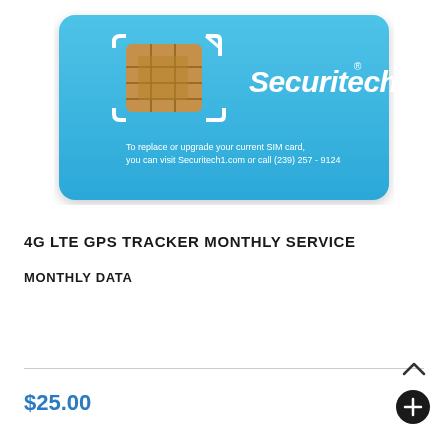[Figure (photo): Securitech1 branded blue SIM card with chip illustration. Text on card reads: 'To replace or upgrade your current SIM card, you can visit Securitech1.com or call (239) 257 - 9124']
4G LTE GPS TRACKER MONTHLY SERVICE
MONTHLY DATA
$25.00